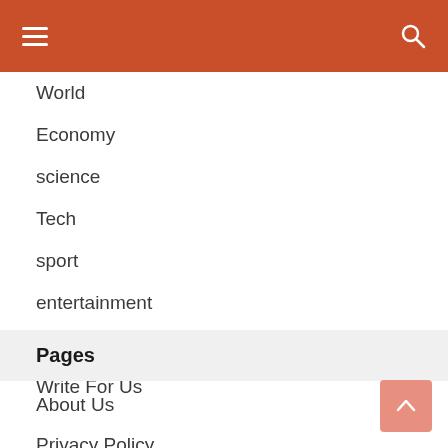Navigation header bar with hamburger menu and search icon
World
Economy
science
Tech
sport
entertainment
Contact Form
Write For Us
Pages
About Us
Privacy Policy
DMCA
Editorial Policy
Contact Form